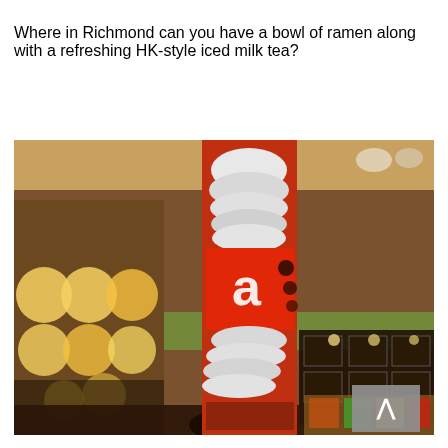Where in Richmond can you have a bowl of ramen along with a refreshing HK-style iced milk tea?
[Figure (photo): Interior photo of a restaurant/ramen shop in Richmond. Shows a decorative pillar with a red sign featuring a stylized 'A' character with noodle imagery, stacked bowls/menus on the back wall, warm ambient lighting with glowing bulbs on the left, a menu board display in the center-right, and customers/staff visible in the foreground.]